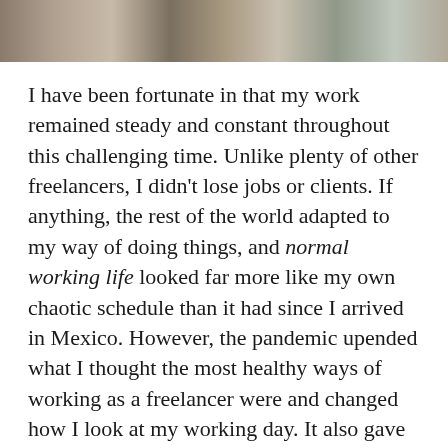[Figure (photo): A photo strip showing decorative or outdoor items, partially cropped at the top of the page.]
I have been fortunate in that my work remained steady and constant throughout this challenging time. Unlike plenty of other freelancers, I didn't lose jobs or clients. If anything, the rest of the world adapted to my way of doing things, and normal working life looked far more like my own chaotic schedule than it had since I arrived in Mexico. However, the pandemic upended what I thought the most healthy ways of working as a freelancer were and changed how I look at my working day. It also gave me a bunch of insights into other, less chair-related elements of my work.
I've come to appreciate the relationships I